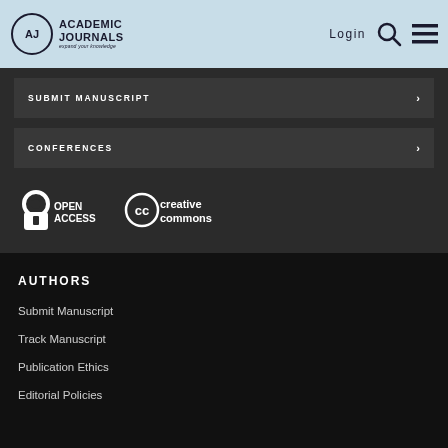Academic Journals — expand your knowledge | Login
SUBMIT MANUSCRIPT
CONFERENCES
[Figure (logo): Open Access logo and Creative Commons logo displayed side by side on dark background]
AUTHORS
Submit Manuscript
Track Manuscript
Publication Ethics
Editorial Policies